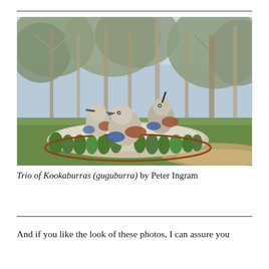[Figure (photo): Outdoor photograph showing three large sculpted kookaburra bird statues on a circular raised platform surrounded by ornamental grass plantings, set against a wooded background with tall gum trees and green lawn. A dirt path curves around the installation.]
Trio of Kookaburras (guguburra) by Peter Ingram
And if you like the look of these photos, I can assure you